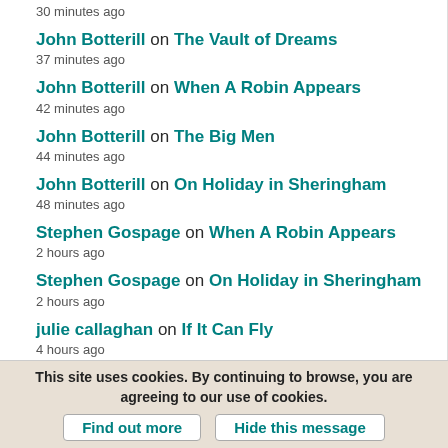30 minutes ago
John Botterill on The Vault of Dreams
37 minutes ago
John Botterill on When A Robin Appears
42 minutes ago
John Botterill on The Big Men
44 minutes ago
John Botterill on On Holiday in Sheringham
48 minutes ago
Stephen Gospage on When A Robin Appears
2 hours ago
Stephen Gospage on On Holiday in Sheringham
2 hours ago
julie callaghan on If It Can Fly
4 hours ago
This site uses cookies. By continuing to browse, you are agreeing to our use of cookies.